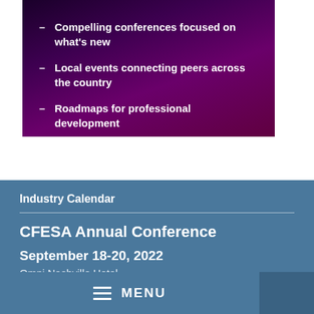Compelling conferences focused on what's new
Local events connecting peers across the country
Roadmaps for professional development
Industry Calendar
CFESA Annual Conference
September 18-20, 2022
Omni Nashville Hotel
Nashville, TN
cfesa.com
MENU